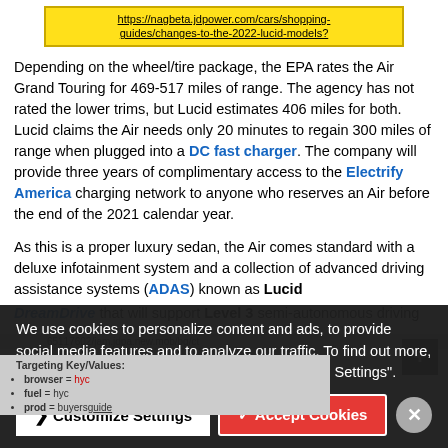https://nagbeta.jdpower.com/cars/shopping-guides/changes-to-the-2022-lucid-models?
Depending on the wheel/tire package, the EPA rates the Air Grand Touring for 469-517 miles of range. The agency has not rated the lower trims, but Lucid estimates 406 miles for both. Lucid claims the Air needs only 20 minutes to regain 300 miles of range when plugged into a DC fast charger. The company will provide three years of complimentary access to the Electrify America charging network to anyone who reserves an Air before the end of the 2021 calendar year.
As this is a proper luxury sedan, the Air comes standard with a deluxe infotainment system and a collection of advanced driving assistance systems (ADAS) known as Lucid DreamDrive that will support Level 3 semi-autonomous driving
We use cookies to personalize content and ads, to provide social media features and to analyze our traffic. To find out more, please visit our privacy policy or click "Customize Settings".